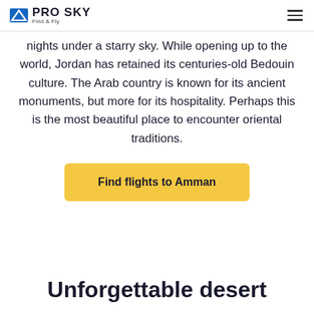PRO SKY Find & Fly
nights under a starry sky. While opening up to the world, Jordan has retained its centuries-old Bedouin culture. The Arab country is known for its ancient monuments, but more for its hospitality. Perhaps this is the most beautiful place to encounter oriental traditions.
Find flights to Amman
Unforgettable desert